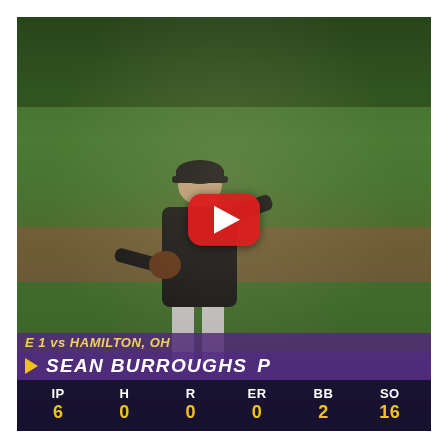[Figure (screenshot): YouTube video thumbnail showing a youth baseball pitcher in a black uniform mid-windup on a green field. A red YouTube play button overlay is centered on the image. At the bottom is a broadcast graphic showing matchup text 'E 1 vs HAMILTON, OH', player name bar 'SEAN BURROUGHS P', and pitching stats: IP 6, H 0, R 0, ER 0, BB 2, SO 16.]